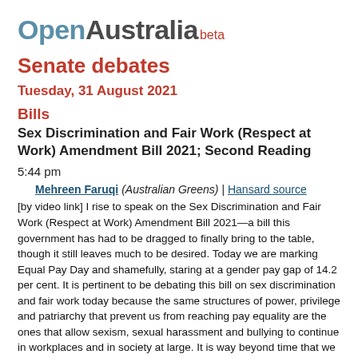OpenAustralia beta
Senate debates
Tuesday, 31 August 2021
Bills
Sex Discrimination and Fair Work (Respect at Work) Amendment Bill 2021; Second Reading
5:44 pm
Mehreen Faruqi (Australian Greens) | Hansard source
[by video link] I rise to speak on the Sex Discrimination and Fair Work (Respect at Work) Amendment Bill 2021—a bill this government has had to be dragged to finally bring to the table, though it still leaves much to be desired. Today we are marking Equal Pay Day and shamefully, staring at a gender pay gap of 14.2 per cent. It is pertinent to be debating this bill on sex discrimination and fair work today because the same structures of power, privilege and patriarchy that prevent us from reaching pay equality are the ones that allow sexism, sexual harassment and bullying to continue in workplaces and in society at large. It is way beyond time that we take strong action to dismantle these systems and hold those who